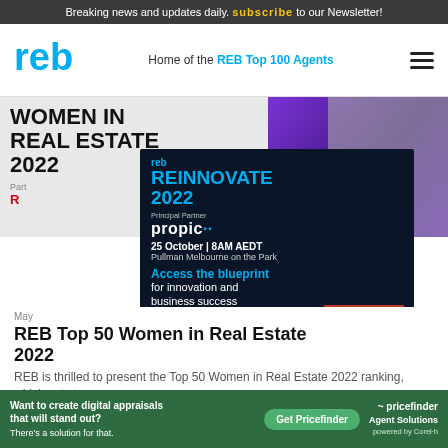Breaking news and updates daily. subscribe to our Newsletter!
Home of the REB Top 100 Agents
[Figure (screenshot): Women in Real Estate 2022 banner with purple graphic and person photo, overlaid by REB Reinnovate 2022 event ad: 25 October 8AM AEDT, Pullman Melbourne on the Park, Principal Partner propic, Access the blueprint for innovation and business success, First Release $229]
May
REB Top 50 Women in Real Estate 2022
REB is thrilled to present the Top 50 Women in Real Estate 2022 ranking, which sets t ...
[Figure (screenshot): Pricefinder Agent Solutions ad: Want to create digital appraisals that will stand out? There's a solution for that. Get Pricefinder button, powered by CoreLogic]